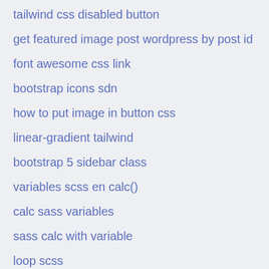tailwind css disabled button
get featured image post wordpress by post id
font awesome css link
bootstrap icons sdn
how to put image in button css
linear-gradient tailwind
bootstrap 5 sidebar class
variables scss en calc()
calc sass variables
sass calc with variable
loop scss
sticky footer not working bootstrap
npm 'cross-env' is not recognized as an internal or external command